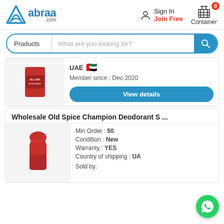[Figure (logo): Abraa.com logo with blue triangular icon and text]
Sign In
Join Free
Container (0)
Products | What are you looking for?
UAE 🇦🇪
Member since : Dec-2020
View details
Wholesale Old Spice Champion Deodorant S ...
Min Order : 50
Condition : New
Warranty : YES
Country of shipping : UA
Sold by:
[Figure (photo): Red deodorant spray can with white text ALL DAY]
[Figure (photo): Red Old Spice Champion Deodorant stick]